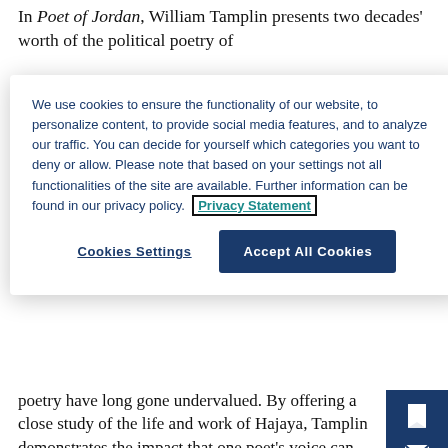In Poet of Jordan, William Tamplin presents two decades' worth of the political poetry of
We use cookies to ensure the functionality of our website, to personalize content, to provide social media features, and to analyze our traffic. You can decide for yourself which categories you want to deny or allow. Please note that based on your settings not all functionalities of the site are available. Further information can be found in our privacy policy. Privacy Statement
Cookies Settings
Accept All Cookies
poetry have long gone undervalued. By offering a close study of the life and work of Hajaya, Tamplin demonstrates the impact that one poet's voice can have on the people and leaders of the contemporary Middle East.
Copyright Year:  2018
E-Book (PDF)
Availability:  Published